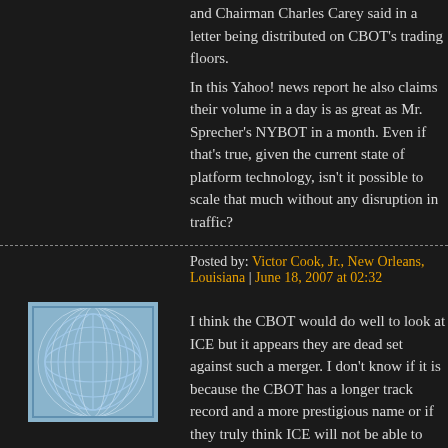and Chairman Charles Carey said in a letter being distributed on CBOT's trading floors.
In this Yahoo! news report he also claims their volume in a day is as great as Mr. Sprecher's NYBOT in a month. Even if that's true, given the current state of platform technology, isn't it possible to scale that much without any disruption in traffic?
Posted by: Victor Cook, Jr., New Orleans, Louisiana | June 18, 2007 at 02:32
[Figure (illustration): Abstract globe/sphere logo with blue curved lines on light blue background]
I think the CBOT would do well to look at ICE but it appears they are dead set against such a merger. I don't know if it is because the CBOT has a longer track record and a more prestigious name or if they truly think ICE will not be able to recognize synergies. ICE seems to have a very advanced clearing process and an increasingly diverse set of trading clients. They will likely do very well even if they are not able to win this courting battle.
Posted by: Zachary Scheidt | June 18, 2007 at 10:48 AM
« Previous
Post a comment